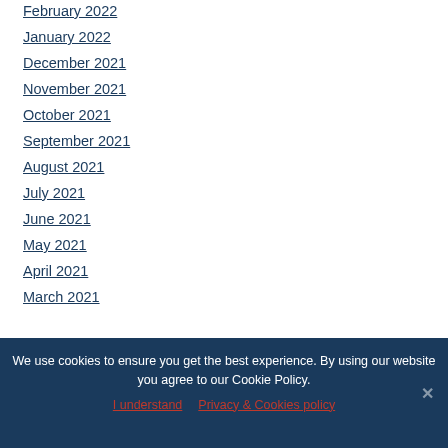February 2022
January 2022
December 2021
November 2021
October 2021
September 2021
August 2021
July 2021
June 2021
May 2021
April 2021
March 2021
We use cookies to ensure you get the best experience. By using our website you agree to our Cookie Policy.
I understand   Privacy & Cookies policy